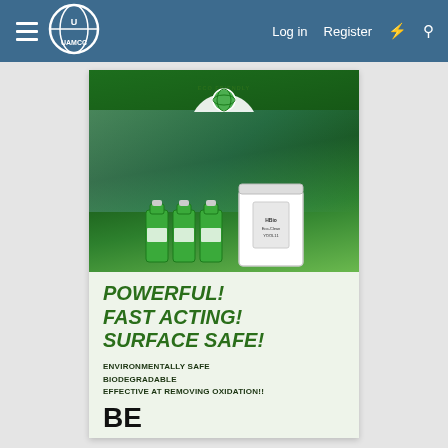≡  UAMCC    Log in   Register   ⚡   🔍
[Figure (photo): Advertisement image showing eco-friendly cleaning products (green bottles and white bucket) with a pressure washing scene in the background and an eco-friendly globe badge at the top.]
POWERFUL!
FAST ACTING!
SURFACE SAFE!
ENVIRONMENTALLY SAFE
BIODEGRADABLE
EFFECTIVE AT REMOVING OXIDATION!!
BE